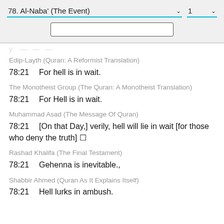78. Al-Naba' (The Event)   1
Edip-Layth (Quran: A Reformist Translation)
78:21   For hell is in wait.
The Monotheist Group (The Quran: A Monotheist Translation)
78:21   For Hell is in wait.
Muhammad Asad (The Message Of Quran)
78:21   [On that Day,] verily, hell will lie in wait [for those who deny the truth]
Rashad Khalifa (The Final Testament)
78:21   Gehenna is inevitable.,
Shabbir Ahmed (Quran As It Explains Itself)
78:21   Hell lurks in ambush.